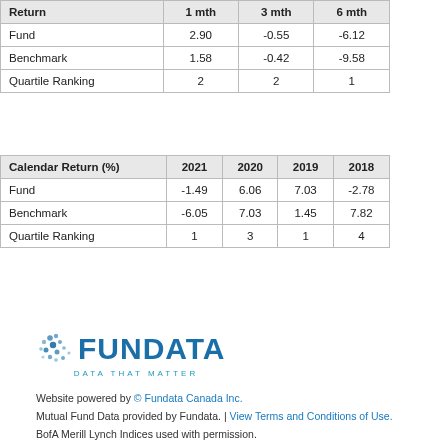| Return | 1 mth | 3 mth | 6 mth |
| --- | --- | --- | --- |
| Fund | 2.90 | -0.55 | -6.12 |
| Benchmark | 1.58 | -0.42 | -9.58 |
| Quartile Ranking | 2 | 2 | 1 |
| Calendar Return (%) | 2021 | 2020 | 2019 | 2018 |
| --- | --- | --- | --- | --- |
| Fund | -1.49 | 6.06 | 7.03 | -2.78 |
| Benchmark | -6.05 | 7.03 | 1.45 | 7.82 |
| Quartile Ranking | 1 | 3 | 1 | 4 |
[Figure (logo): Fundata logo with dots and tagline DATA THAT MATTER]
Website powered by © Fundata Canada Inc. Mutual Fund Data provided by Fundata. | View Terms and Conditions of Use. BofA Merill Lynch Indices used with permission. © 2022 Fundata Canada Inc. All rights reserved. | View Privacy Policy | Contact Us.